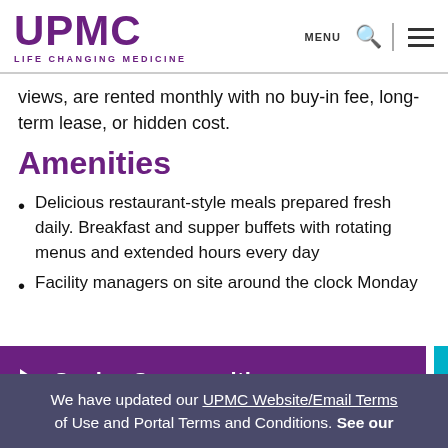UPMC LIFE CHANGING MEDICINE
views, are rented monthly with no buy-in fee, long-term lease, or hidden cost.
Amenities
Delicious restaurant-style meals prepared fresh daily. Breakfast and supper buffets with rotating menus and extended hours every day
Facility managers on site around the clock Monday
Senior Communities
telephone)
Daily activities, outings, and stimulating interest
We have updated our UPMC Website/Email Terms of Use and Portal Terms and Conditions. See our